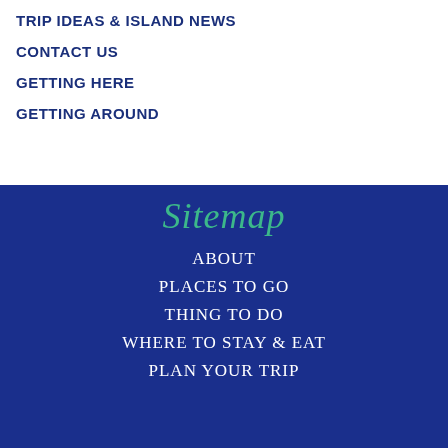TRIP IDEAS & ISLAND NEWS
CONTACT US
GETTING HERE
GETTING AROUND
Sitemap
ABOUT
PLACES TO GO
THING TO DO
WHERE TO STAY & EAT
PLAN YOUR TRIP